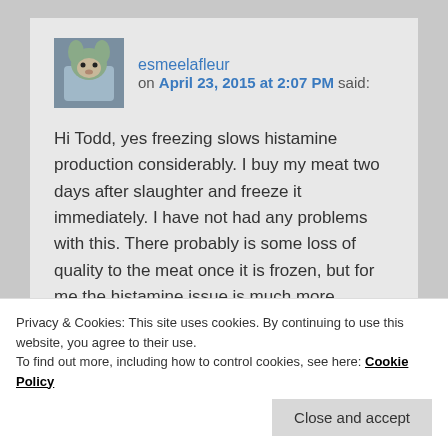esmeelafleur on April 23, 2015 at 2:07 PM said:
Hi Todd, yes freezing slows histamine production considerably. I buy my meat two days after slaughter and freeze it immediately. I have not had any problems with this. There probably is some loss of quality to the meat once it is frozen, but for me the histamine issue is much more important. If you live liver, you could always try to get your hands on some fresh
Privacy & Cookies: This site uses cookies. By continuing to use this website, you agree to their use.
To find out more, including how to control cookies, see here: Cookie Policy